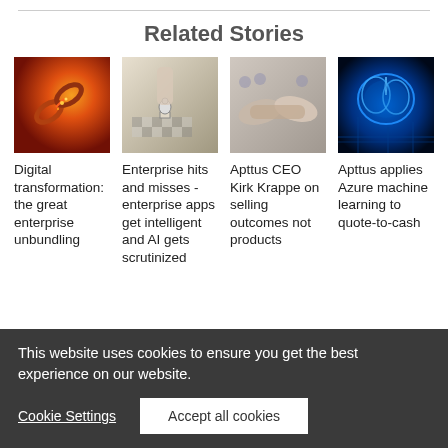Related Stories
[Figure (photo): Broken chain with fire and sparks, orange/red tones]
Digital transformation: the great enterprise unbundling
[Figure (photo): Hand holding chess piece over chessboard]
Enterprise hits and misses - enterprise apps get intelligent and AI gets scrutinized
[Figure (photo): Two people shaking hands in business setting]
Apttus CEO Kirk Krappe on selling outcomes not products
[Figure (photo): Blue glowing brain on circuit board background]
Apttus applies Azure machine learning to quote-to-cash
This website uses cookies to ensure you get the best experience on our website.
Cookie Settings
Accept all cookies